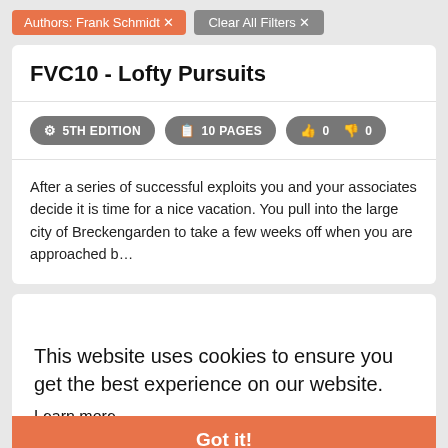Authors: Frank Schmidt ✕   Clear All Filters ✕
FVC10 - Lofty Pursuits
5TH EDITION   10 PAGES   👍 0  👎 0
After a series of successful exploits you and your associates decide it is time for a nice vacation. You pull into the large city of Breckengarden to take a few weeks off when you are approached b…
This website uses cookies to ensure you get the best experience on our website.
Learn more
Got it!
Gnomish flying vessel! The rods have directed you to a crashed shi...